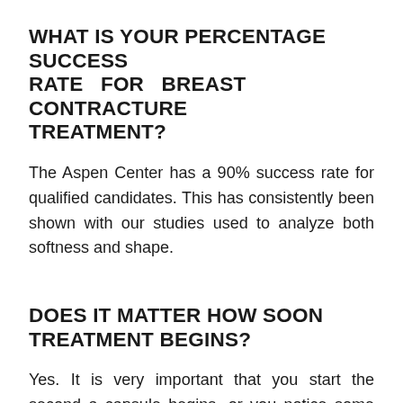WHAT IS YOUR PERCENTAGE SUCCESS RATE FOR BREAST CONTRACTURE TREATMENT?
The Aspen Center has a 90% success rate for qualified candidates. This has consistently been shown with our studies used to analyze both softness and shape.
DOES IT MATTER HOW SOON TREATMENT BEGINS?
Yes. It is very important that you start the second a capsule begins, or you notice some changes post-op. The earlier the treatment